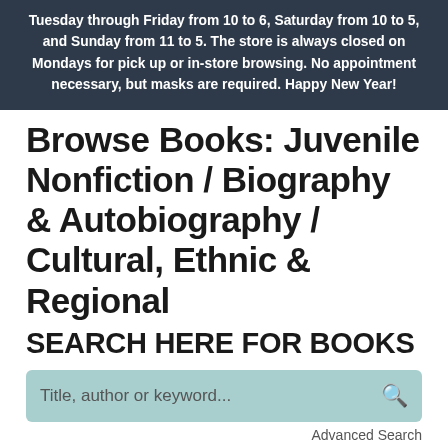Tuesday through Friday from 10 to 6, Saturday from 10 to 5, and Sunday from 11 to 5. The store is always closed on Mondays for pick up or in-store browsing. No appointment necessary, but masks are required. Happy New Year!
Browse Books: Juvenile Nonfiction / Biography & Autobiography / Cultural, Ethnic & Regional
SEARCH HERE FOR BOOKS
Title, author or keyword...
Advanced Search
[Figure (photo): Book cover for 'Little Dreamers: Visionary Women Around' with dark blue background and decorative script text]